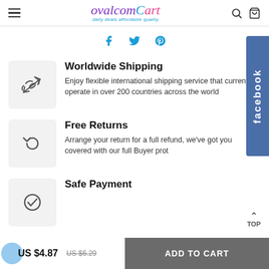[Figure (logo): ovalcomCart logo with tagline 'daily deals affordable quality']
[Figure (infographic): Social share icons: Facebook (f), Twitter (bird), Pinterest (p) in cyan/teal color]
Worldwide Shipping
Enjoy flexible international shipping service that currently operate in over 200 countries across the world
Free Returns
Arrange your return for a full refund, we've got you covered with our full Buyer prot
Safe Payment
US $4.87  US $6.29  ADD TO CART